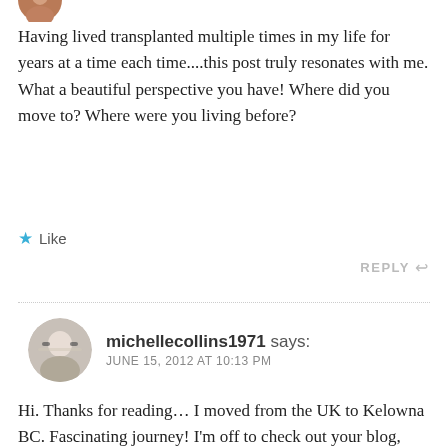[Figure (photo): Partial circular avatar image at top left, cropped]
Having lived transplanted multiple times in my life for years at a time each time....this post truly resonates with me. What a beautiful perspective you have! Where did you move to? Where were you living before?
★ Like
REPLY ↩
[Figure (photo): Circular avatar photo of michellecollins1971, woman with sunglasses and scarf]
michellecollins1971 says:
JUNE 15, 2012 AT 10:13 PM
Hi. Thanks for reading… I moved from the UK to Kelowna BC. Fascinating journey! I'm off to check out your blog, stay in touch.